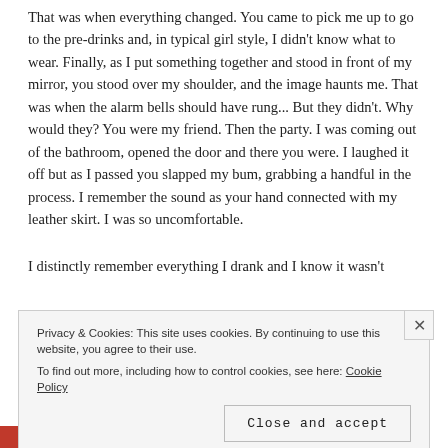That was when everything changed. You came to pick me up to go to the pre-drinks and, in typical girl style, I didn't know what to wear. Finally, as I put something together and stood in front of my mirror, you stood over my shoulder, and the image haunts me. That was when the alarm bells should have rung... But they didn't. Why would they? You were my friend. Then the party. I was coming out of the bathroom, opened the door and there you were. I laughed it off but as I passed you slapped my bum, grabbing a handful in the process. I remember the sound as your hand connected with my leather skirt. I was so uncomfortable.
I distinctly remember everything I drank and I know it wasn't
Privacy & Cookies: This site uses cookies. By continuing to use this website, you agree to their use. To find out more, including how to control cookies, see here: Cookie Policy
Close and accept